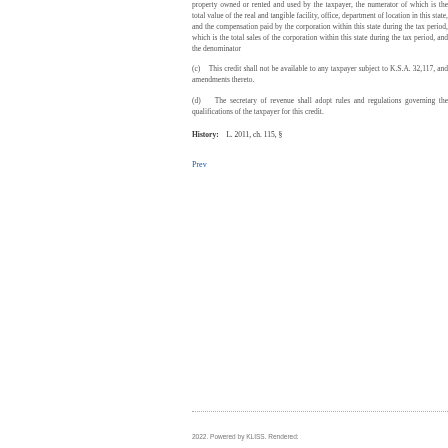property owned or rented and used by the taxpayer, the numerator of which is the total value of the real and tangible property, facility, office, department or location in this state, and the compensation paid by the corporation within this state during the tax period, which is the total sales of the corporation within this state during the tax period, and the denominator of which is...
(c)   This credit shall not be available to any taxpayer subject to K.S.A. 32,117, and amendments thereto.
(d)   The secretary of revenue shall adopt rules and regulations governing the qualifications of the taxpayer for this credit.
History:   L. 2011, ch. 115, §
Prev
2022. Powered by KLISS. Rendered: